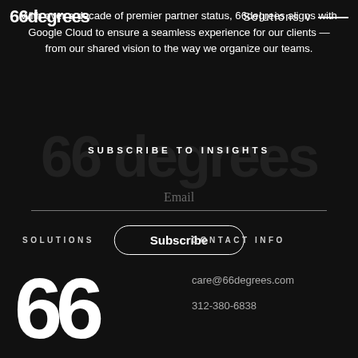66degrees  Solutions
With over a decade of premier partner status, 66degrees aligns with Google Cloud to ensure a seamless experience for our clients — from our shared vision to the way we organize our teams.
SUBSCRIBE TO INSIGHTS
Email
Subscribe
SOLUTIONS
CONTACT INFO
[Figure (logo): Large '66' numeral in white, acting as 66degrees brand logo mark in the footer]
care@66degrees.com
312-380-6838